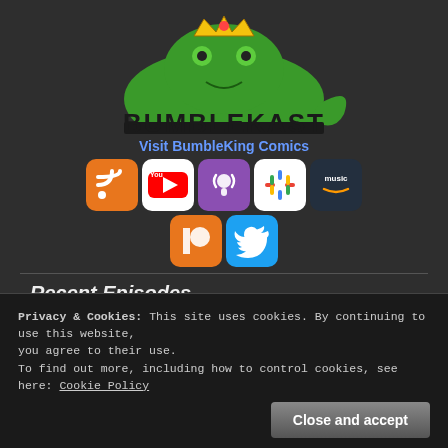[Figure (logo): BumbleKast logo with a green cartoon dinosaur/frog wearing a crown, and the text BUMBLEKAST in large bold letters below]
Visit BumbleKing Comics
[Figure (infographic): Row of social media icons: RSS (orange), YouTube (white/red), Podcast (purple), Google Podcasts (white/colorful), Amazon Music (dark/smile). Second row: Patreon (orange), Twitter (blue)]
Recent Episodes
BumbleKast for August 19th, 2022 - Q&A Podcast with Ian Flynn
BumbleKast for August 17th, 2022 – Q&A Podcast with Ian Flynn
BumbleKast for August 15th, 2022 – Q&A Podcast with Ian Flynn
Privacy & Cookies: This site uses cookies. By continuing to use this website, you agree to their use.
To find out more, including how to control cookies, see here: Cookie Policy
Close and accept